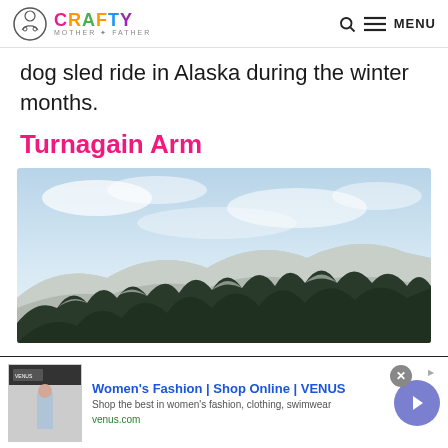Crafty Mother Father | Q MENU
dog sled ride in Alaska during the winter months.
Turnagain Arm
[Figure (photo): Snowy forested hillside with blue cloudy sky, Turnagain Arm Alaska landscape]
[Figure (screenshot): Advertisement: Women's Fashion | Shop Online | VENUS. Shop the best in women's fashion, clothing, swimwear. venus.com]